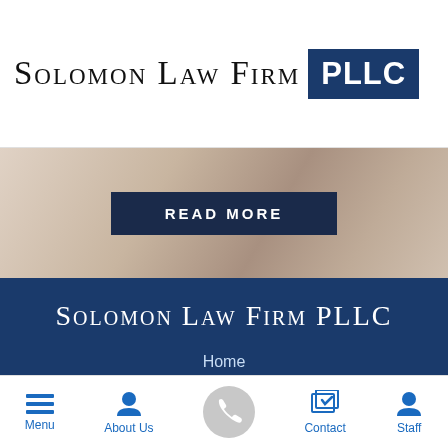Solomon Law Firm PLLC
[Figure (screenshot): Hero image with a blurred background of a person in business attire, with a dark navy READ MORE button centered over it]
Solomon Law Firm PLLC
Home
Attorneys
[Figure (infographic): Mobile app bottom toolbar with four icon+label buttons: Menu (hamburger icon), About Us (person icon), Contact (documents/checkbox icon), Staff (person icon), and a centered circular phone button in gray]